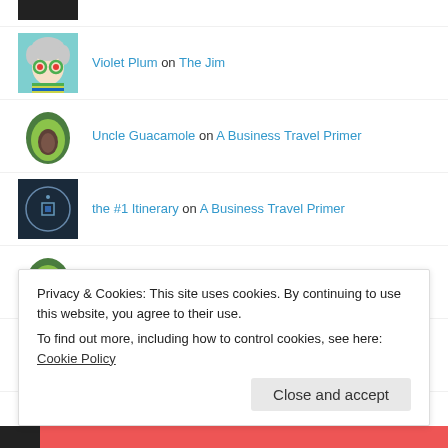[Figure (illustration): Partial dark avatar image at top, cropped]
Violet Plum on The Jim
Uncle Guacamole on A Business Travel Primer
the #1 Itinerary on A Business Travel Primer
Uncle Guacamole on The Jim
Violet Plum on The Jim
Privacy & Cookies: This site uses cookies. By continuing to use this website, you agree to their use. To find out more, including how to control cookies, see here: Cookie Policy
Close and accept